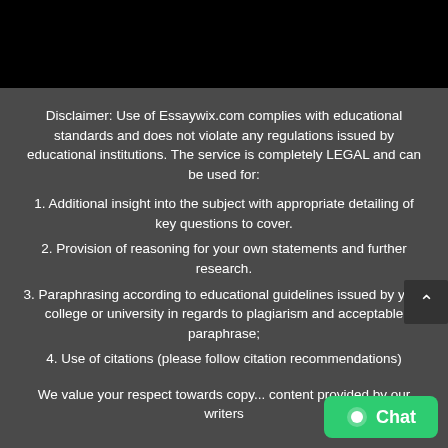Disclaimer: Use of Essaywix.com complies with educational standards and does not violate any regulations issued by educational institutions. The service is completely LEGAL and can be used for:
1. Additional insight into the subject with appropriate detailing of key questions to cover.
2. Provision of reasoning for your own statements and further research.
3. Paraphrasing according to educational guidelines issued by your college or university in regards to plagiarism and acceptable paraphrase;
4. Use of citations (please follow citation recommendations)
We value your respect towards copy... content provided by our writers